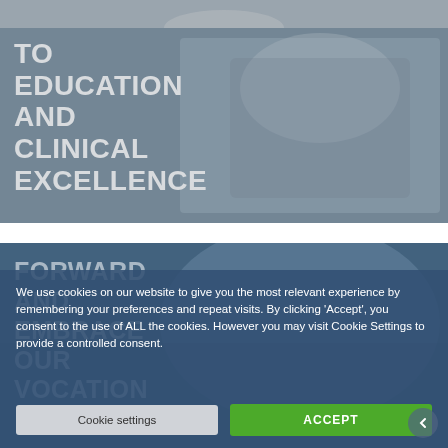[Figure (photo): Partial top image, bottom edge of a photo visible at top of page]
[Figure (photo): Dental clinic interior with dental chair and equipment, overlaid with large white text reading TO EDUCATION AND CLINICAL EXCELLENCE]
[Figure (photo): Medical/dental staff in scrubs with overlaid text FORWARD AND EMBRACE OUR VOCATION, partially obscured by cookie consent overlay]
We use cookies on our website to give you the most relevant experience by remembering your preferences and repeat visits. By clicking 'Accept', you consent to the use of ALL the cookies. However you may visit Cookie Settings to provide a controlled consent.
Cookie settings
ACCEPT